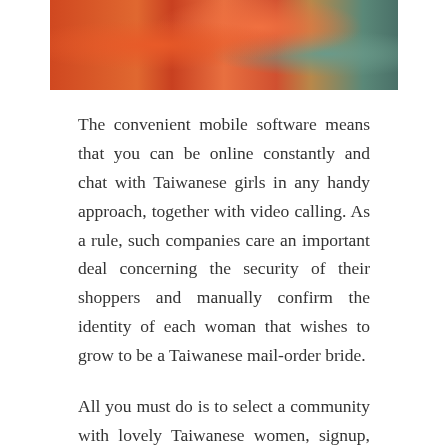[Figure (photo): Cropped photograph showing colorful clothing in orange, teal, and multicolored fabric, partially visible at top of page.]
The convenient mobile software means that you can be online constantly and chat with Taiwanese girls in any handy approach, together with video calling. As a rule, such companies care an important deal concerning the security of their shoppers and manually confirm the identity of each woman that wishes to grow to be a Taiwanese mail-order bride.
All you must do is to select a community with lovely Taiwanese women, signup, and start an thrilling and thrilling online romance with your future wife. It means that you can discover a Taiwanese lady of your desires very quickly. Beautiful Taiwanese girls for marriage have access to good schooling and are normally very clever.
Taiwanese ladies will appreciate flowers and cute plush